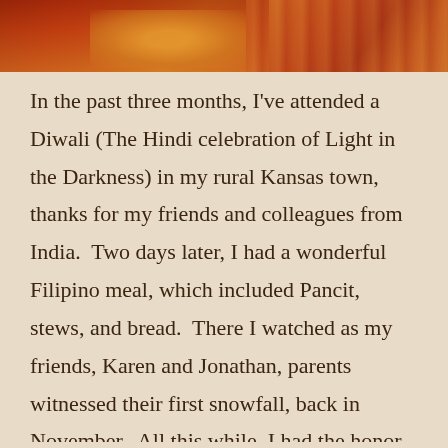[Figure (photo): Cropped photo showing warm orange, yellow, and red tones of fabric or clothing, possibly traditional Indian attire, at the top of the page.]
In the past three months, I've attended a Diwali (The Hindi celebration of Light in the Darkness) in my rural Kansas town, thanks for my friends and colleagues from India.  Two days later, I had a wonderful Filipino meal, which included Pancit, stews, and bread.  There I watched as my friends, Karen and Jonathan, parents witnessed their first snowfall, back in November.  All this while, I had the honor of interacting with a wide range of folks.  I learned a little more about them by sharing in their cultural celebrations and the foods of their regions and countries.  It's my favorite thing to do!  I walk away, a little fuller in my stomach, heart, and mind.  I will chronicle some of the events, here.